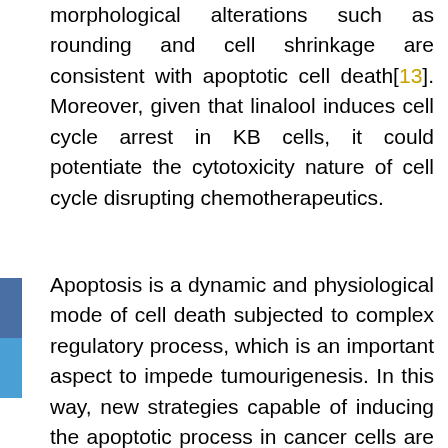morphological alterations such as rounding and cell shrinkage are consistent with apoptotic cell death[13]. Moreover, given that linalool induces cell cycle arrest in KB cells, it could potentiate the cytotoxicity nature of cell cycle disrupting chemotherapeutics.
Apoptosis is a dynamic and physiological mode of cell death subjected to complex regulatory process, which is an important aspect to impede tumourigenesis. In this way, new strategies capable of inducing the apoptotic process in cancer cells are welcoming, modulating the sensitivity of tumor and normal cells to antitumor agents, via regulatory mechanism of apoptosis[14]. KB cells were analyzed by the expression of AIF/TP protein...